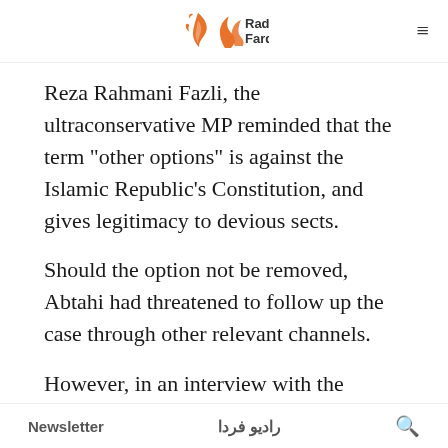Radio Farda
Reza Rahmani Fazli, the ultraconservative MP reminded that the term "other options" is against the Islamic Republic's Constitution, and gives legitimacy to devious sects.
Should the option not be removed, Abtahi had threatened to follow up the case through other relevant channels.
However, in an interview with the Lebanese Mayadeen TV, the former Secretary of the Iranian Judiciary's High Council for Human Rights, Mohammad Javad Larijani, had noted on November 16, 2019, "According to our constitution, there is no
Newsletter | رادیو فردا | 🔍